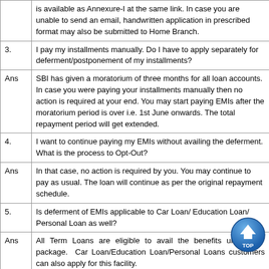|  | is available as Annexure-I at the same link. In case you are unable to send an email, handwritten application in prescribed format may also be submitted to Home Branch. |
| 3. | I pay my installments manually. Do I have to apply separately for deferment/postponement of my installments? |
| Ans | SBI has given a moratorium of three months for all loan accounts. In case you were paying your installments manually then no action is required at your end. You may start paying EMIs after the moratorium period is over i.e. 1st June onwards. The total repayment period will get extended. |
| 4. | I want to continue paying my EMIs without availing the deferment. What is the process to Opt-Out? |
| Ans | In that case, no action is required by you. You may continue to pay as usual. The loan will continue as per the original repayment schedule. |
| 5. | Is deferment of EMIs applicable to Car Loan/ Education Loan/ Personal Loan as well? |
| Ans | All Term Loans are eligible to avail the benefits under the package. Car Loan/Education Loan/Personal Loans customers can also apply for this facility. |
| 6. | Are the EMIs going to be waived? |